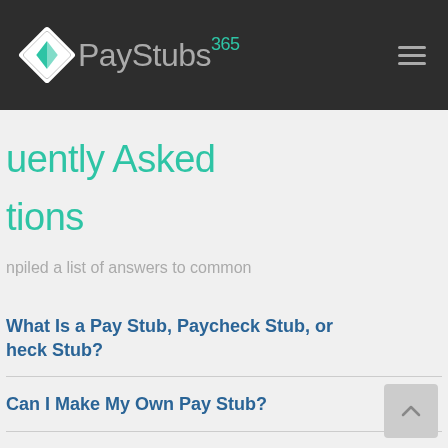PayStubs365
Frequently Asked Questions
compiled a list of answers to common
What Is a Pay Stub, Paycheck Stub, or Check Stub?
Can I Make My Own Pay Stub?
What is a calendar year?
What is a fiscal year?